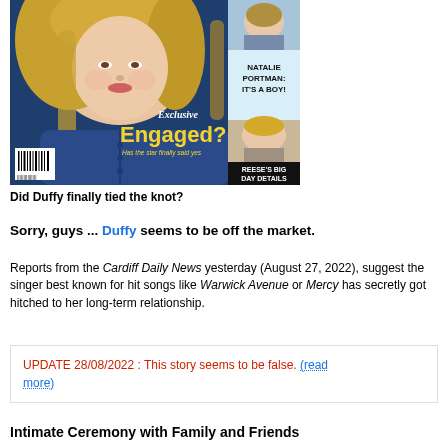[Figure (photo): Magazine cover showing a blonde woman in a blue jacket. Cover headlines include 'Exclusive Engaged?' in yellow text, 'Natalie Portman: It's a Boy!' and 'Reese's Big Day Details' in side panels.]
Did Duffy finally tied the knot?
Sorry, guys ... Duffy seems to be off the market.
Reports from the Cardiff Daily News yesterday (August 27, 2022), suggest the singer best known for hit songs like Warwick Avenue or Mercy has secretly got hitched to her long-term relationship.
UPDATE 28/08/2022 : This story seems to be false. (read more)
Intimate Ceremony with Family and Friends